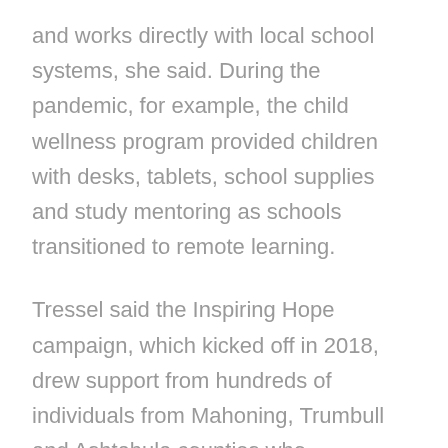and works directly with local school systems, she said. During the pandemic, for example, the child wellness program provided children with desks, tablets, school supplies and study mentoring as schools transitioned to remote learning.
Tressel said the Inspiring Hope campaign, which kicked off in 2018, drew support from hundreds of individuals from Mahoning, Trumbull and Ashtabula counties who contributed gifts from as little as $3 to $300,000.